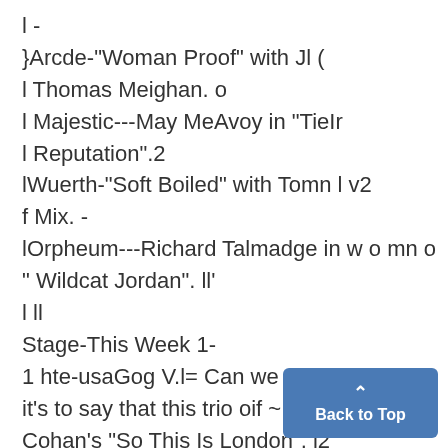l -
}Arcde-"Woman Proof" with Jl (
l Thomas Meighan. o
l Majestic---May MeAvoy in "TieIr
l Reputation".2
lWuerth-"Soft Boiled" with Tomn l v2
f Mix. -
lOrpheum---Richard Talmadge in w o mn o
" Wildcat Jordan". ll'
l ll
Stage-This Week 1-
1 hte-usaGog V.l= Can we add m
it's to say that this trio oif ~.:::  .
Cohan's "So This Is London". i2